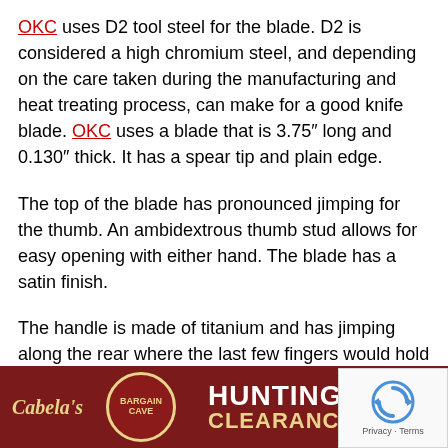OKC uses D2 tool steel for the blade. D2 is considered a high chromium steel, and depending on the care taken during the manufacturing and heat treating process, can make for a good knife blade. OKC uses a blade that is 3.75" long and 0.130" thick. It has a spear tip and plain edge.
The top of the blade has pronounced jimping for the thumb. An ambidextrous thumb stud allows for easy opening with either hand. The blade has a satin finish.
The handle is made of titanium and has jimping along the rear where the last few fingers would hold it. The pocket clip is reversible.
The Cerberus Folder is backed by a lifetime warranty. It has a suggested retail price of $164.95.
Currently, the company has a fixed blade knife called the Cerberus. This knife is substantially different than the folder. In addition to it being a full tang knife, it has a G10 handle, black oxide coat, a 4.8" lo...
[Figure (other): Cabela's Bargain Cave Hunting Clearance advertisement banner overlaid at the bottom of the page, with Shop Now button.]
[Figure (other): Google reCAPTCHA widget overlay in the bottom right corner, showing the reCAPTCHA logo and Privacy/Terms text.]